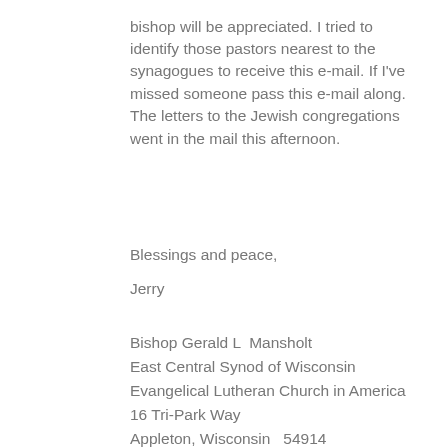bishop will be appreciated.  I tried to identify those pastors nearest to the synagogues to receive this e-mail.  If I've missed someone pass this e-mail along.  The letters to the Jewish congregations went in the mail this afternoon.
Blessings and peace,
Jerry
Bishop Gerald L  Mansholt
East Central Synod of Wisconsin
Evangelical Lutheran Church in America
16 Tri-Park Way
Appleton, Wisconsin   54914
Office phone:  920-734-5381
Cell:  920-809-9231
www.ecsw.org